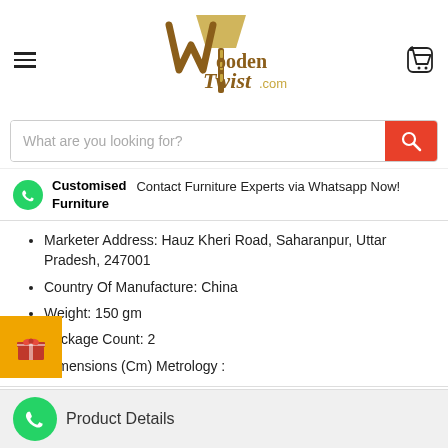[Figure (logo): WoodenTwist.com logo with lamp and twisted wooden stand]
[Figure (other): Search bar with orange/red search button and placeholder text 'What are you looking for?']
Customised Furniture   Contact Furniture Experts via Whatsapp Now!
Marketer Address: Hauz Kheri Road, Saharanpur, Uttar Pradesh, 247001
Country Of Manufacture: China
Weight: 150 gm
Package Count: 2
Dimensions (Cm) Metrology :
Product Details